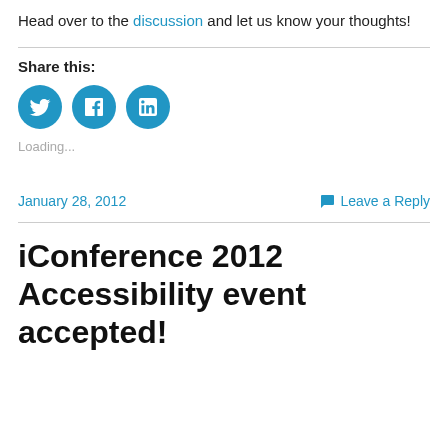Head over to the discussion and let us know your thoughts!
Share this:
[Figure (other): Three social media icon buttons: Twitter (bird icon), Facebook (f icon), LinkedIn (in icon), all in blue circles]
Loading...
January 28, 2012
Leave a Reply
iConference 2012 Accessibility event accepted!